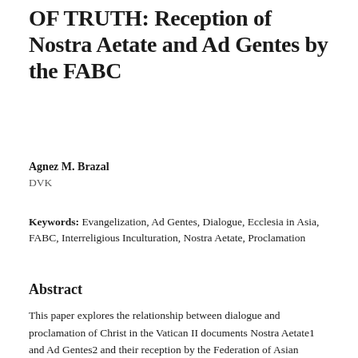OF TRUTH: Reception of Nostra Aetate and Ad Gentes by the FABC
Agnez M. Brazal
DVK
Keywords: Evangelization, Ad Gentes, Dialogue, Ecclesia in Asia, FABC, Interreligious Inculturation, Nostra Aetate, Proclamation
Abstract
This paper explores the relationship between dialogue and proclamation of Christ in the Vatican II documents Nostra Aetate1 and Ad Gentes2 and their reception by the Federation of Asian Bishops Conference (FABC) – its plenary assembly, as well as the Bishops Institute for Religious